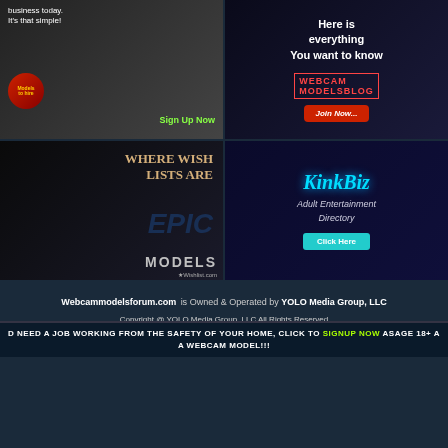[Figure (photo): Ad banner: Models to hire with woman in black tank top, logo and Sign Up Now button]
[Figure (photo): Ad banner: Webcam Models Blog - Here is everything You want to know, with Join Now button]
[Figure (photo): Ad banner: Where Wish Lists Are Epic - Models, Wishlist.com with woman in black dress]
[Figure (photo): Ad banner: KinkBiz Adult Entertainment Directory with Click Here button in teal]
Webcammodelsforum.com is Owned & Operated by YOLO Media Group, LLC
Copyright @ YOLO Media Group, LLC All Rights Reserved
The site contains sexually explicit material. Enter this site ONLY if you are over the age of 18!
D NEED A JOB WORKING FROM THE SAFETY OF YOUR HOME, CLICK TO SIGNUP NOW ASAGE 18+ A A WEBCAM MODEL!!!